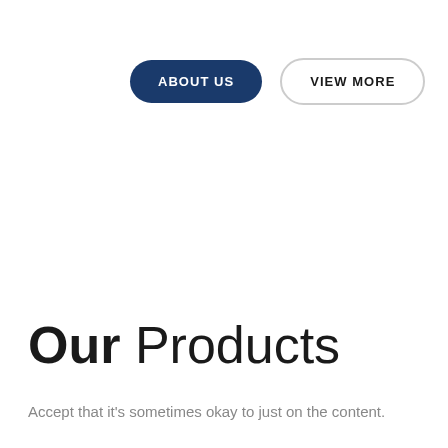ABOUT US
VIEW MORE
Our Products
Accept that it's sometimes okay to just on the content.